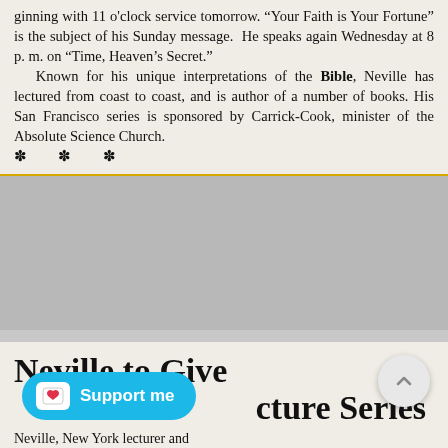ginning with 11 o'clock service tomorrow. "Your Faith is Your Fortune" is the subject of his Sunday message. He speaks again Wednesday at 8 p. m. on "Time, Heaven's Secret."
    Known for his unique interpretations of the Bible, Neville has lectured from coast to coast, and is author of a number of books. His San Francisco series is sponsored by Carrick-Cook, minister of the Absolute Science Church.
Neville to Give cture Series
Neville, New York lecturer and